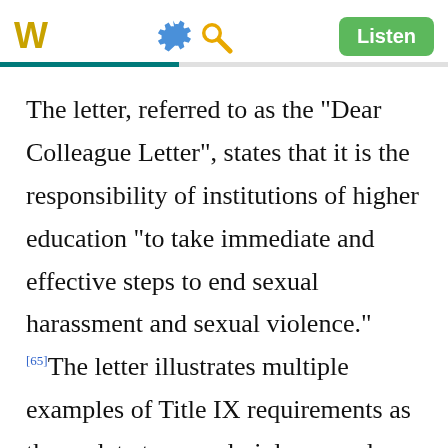W | Listen
The letter, referred to as the "Dear Colleague Letter", states that it is the responsibility of institutions of higher education "to take immediate and effective steps to end sexual harassment and sexual violence." [65] The letter illustrates multiple examples of Title IX requirements as they relate to sexual violence and makes clear that, should an